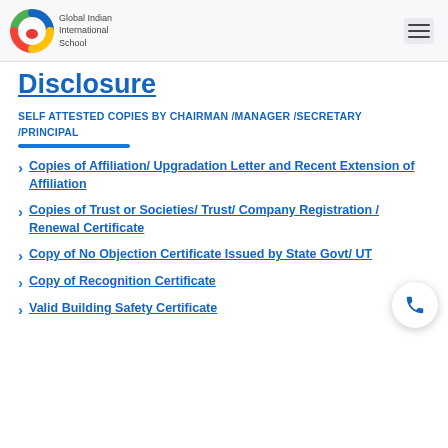[Figure (logo): Global Indian International School logo with colorful circular icon and school name text]
Disclosure
SELF ATTESTED COPIES BY CHAIRMAN /MANAGER /SECRETARY /PRINCIPAL
Copies of Affiliation/ Upgradation Letter and Recent Extension of Affiliation
Copies of Trust or Societies/ Trust/ Company Registration / Renewal Certificate
Copy of No Objection Certificate Issued by State Govt/ UT
Copy of Recognition Certificate
Valid Building Safety Certificate